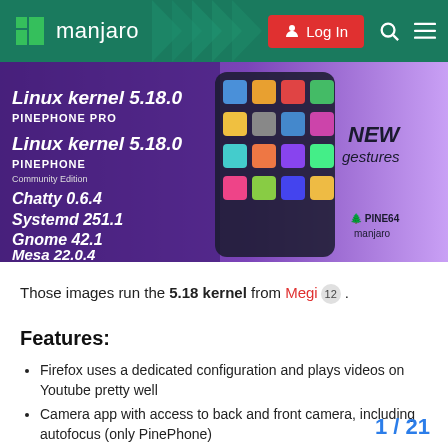[Figure (screenshot): Manjaro Linux forum website navigation bar with logo, login button, search icon, and menu icon on dark green background]
[Figure (screenshot): Manjaro PinePhone/PinePhone Pro release announcement banner showing Linux kernel 5.18.0, Chatty 0.6.4, Systemd 251.1, Gnome 42.1, Mesa 22.0.4, and NEW gestures with phone app grid screenshot on purple/dark background with Pine64 Manjaro logo]
Those images run the 5.18 kernel from Megi 12 .
Features:
Firefox uses a dedicated configuration and plays videos on Youtube pretty well
Camera app with access to back and front camera, including autofocus (only PinePhone)
Auto-Rotate function and manual rotate
Welcome wizard for easy setup of
We have now a working Torch in th
1 / 21